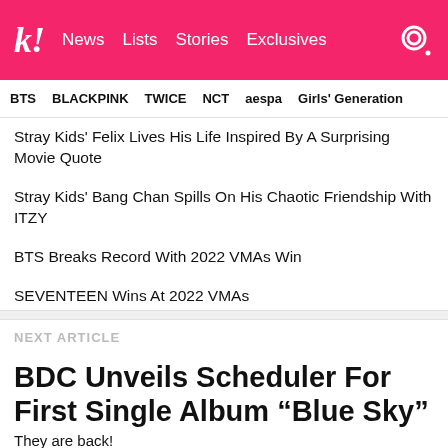kl! News Lists Stories Exclusives
BTS   BLACKPINK   TWICE   NCT   aespa   Girls' Generation
Stray Kids' Felix Lives His Life Inspired By A Surprising Movie Quote
Stray Kids' Bang Chan Spills On His Chaotic Friendship With ITZY
BTS Breaks Record With 2022 VMAs Win
SEVENTEEN Wins At 2022 VMAs
NEXT ARTICLE
BDC Unveils Scheduler For First Single Album “Blue Sky”
They are back!